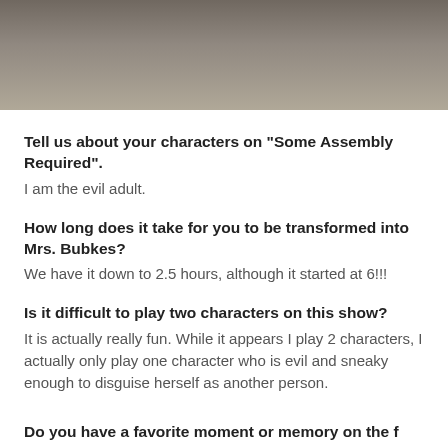[Figure (photo): Cropped photo of a person in dark clothing holding a bag, partially visible at top of page]
Tell us about your characters on “Some Assembly Required”.
I am the evil adult.
How long does it take for you to be transformed into Mrs. Bubkes?
We have it down to 2.5 hours, although it started at 6!!!
Is it difficult to play two characters on this show?
It is actually really fun. While it appears I play 2 characters, I actually only play one character who is evil and sneaky enough to disguise herself as another person.
Do you have a favorite moment or memory on the set?